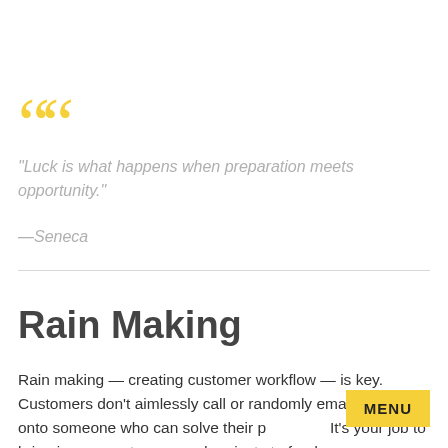“Luck is what happens when preparation meets opportunity.”
—Seneca
Rain Making
Rain making — creating customer workflow — is key. Customers don’t aimlessly call or randomly email to stumble onto someone who can solve their problems. It’s your job to bring in new customers and projects to feed